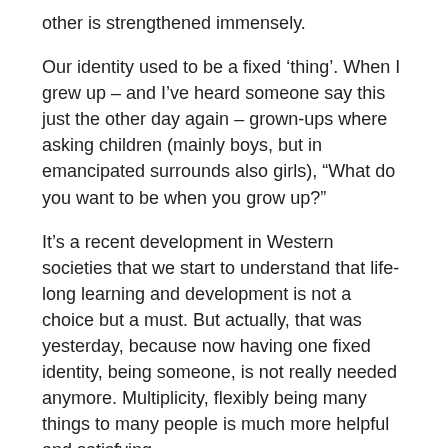other is strengthened immensely.
Our identity used to be a fixed ‘thing’. When I grew up – and I’ve heard someone say this just the other day again – grown-ups where asking children (mainly boys, but in emancipated surrounds also girls), “What do you want to be when you grow up?”
It’s a recent development in Western societies that we start to understand that life-long learning and development is not a choice but a must. But actually, that was yesterday, because now having one fixed identity, being someone, is not really needed anymore. Multiplicity, flexibly being many things to many people is much more helpful and satisfying.
So when I say, being who you are – being who I am – this is what I mean, “It’s as if we come from an era where we thought we were a tree in a wood, and now we see that